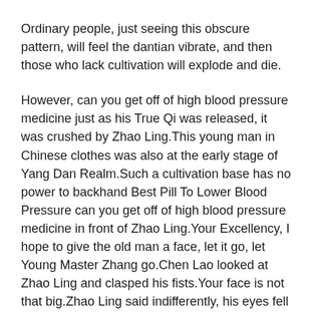Ordinary people, just seeing this obscure pattern, will feel the dantian vibrate, and then those who lack cultivation will explode and die.
However, can you get off of high blood pressure medicine just as his True Qi was released, it was crushed by Zhao Ling.This young man in Chinese clothes was also at the early stage of Yang Dan Realm.Such a cultivation base has no power to backhand Best Pill To Lower Blood Pressure can you get off of high blood pressure medicine in front of Zhao Ling.Your Excellency, I hope to give the old man a face, let it go, let Young Master Zhang go.Chen Lao looked at Zhao Ling and clasped his fists.Your face is not that big.Zhao Ling said indifferently, his eyes fell on the young man in Huayi, and he joked What is wrong Stop talking.
Lei Cheng did not react at all, he just fell to the ground,